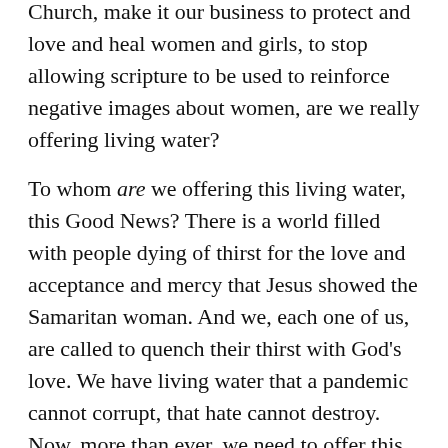Church, make it our business to protect and love and heal women and girls, to stop allowing scripture to be used to reinforce negative images about women, are we really offering living water?
To whom are we offering this living water, this Good News? There is a world filled with people dying of thirst for the love and acceptance and mercy that Jesus showed the Samaritan woman. And we, each one of us, are called to quench their thirst with God's love. We have living water that a pandemic cannot corrupt, that hate cannot destroy. Now, more than ever, we need to offer this water to all who are thirsty.
This sermon and the entire Morning Prayer liturgy were recorded and may be found here. The sermon begins at approximately 27:40.